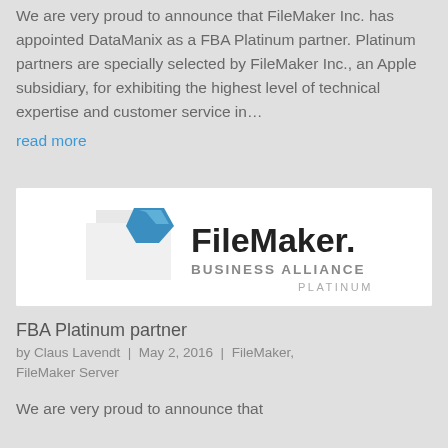We are very proud to announce that FileMaker Inc. has appointed DataManix as a FBA Platinum partner. Platinum partners are specially selected by FileMaker Inc., an Apple subsidiary, for exhibiting the highest level of technical expertise and customer service in…
read more
[Figure (logo): FileMaker Business Alliance Platinum logo on white background]
FBA Platinum partner
by Claus Lavendt | May 2, 2016 | FileMaker, FileMaker Server
We are very proud to announce that